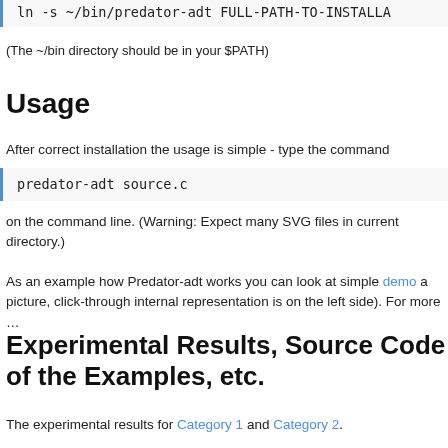ln -s ~/bin/predator-adt FULL-PATH-TO-INSTALLA...
(The ~/bin directory should be in your $PATH)
Usage
After correct installation the usage is simple - type the command
predator-adt source.c
on the command line. (Warning: Expect many SVG files in current directory.)
As an example how Predator-adt works you can look at simple demo a... picture, click-through internal representation is on the left side). For more ...
Experimental Results, Source Code of the Examples, etc.
The experimental results for Category 1 and Category 2.